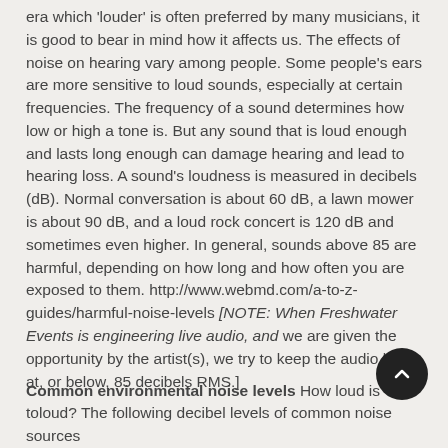era which 'louder' is often preferred by many musicians, it is good to bear in mind how it affects us. The effects of noise on hearing vary among people. Some people's ears are more sensitive to loud sounds, especially at certain frequencies. The frequency of a sound determines how low or high a tone is. But any sound that is loud enough and lasts long enough can damage hearing and lead to hearing loss. A sound's loudness is measured in decibels (dB). Normal conversation is about 60 dB, a lawn mower is about 90 dB, and a loud rock concert is 120 dB and sometimes even higher. In general, sounds above 85 are harmful, depending on how long and how often you are exposed to them. http://www.webmd.com/a-to-z-guides/harmful-noise-levels [NOTE: When Freshwater Events is engineering live audio, and we are given the opportunity by the artist(s), we try to keep the audio level at, or below, 85 decibels RMS.]
Common environmental noise levels How loud is too loud? The following decibel levels of common noise sources